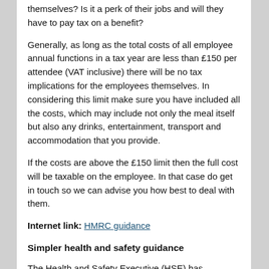themselves? Is it a perk of their jobs and will they have to pay tax on a benefit?
Generally, as long as the total costs of all employee annual functions in a tax year are less than £150 per attendee (VAT inclusive) there will be no tax implications for the employees themselves. In considering this limit make sure you have included all the costs, which may include not only the meal itself but also any drinks, entertainment, transport and accommodation that you provide.
If the costs are above the £150 limit then the full cost will be taxable on the employee. In that case do get in touch so we can advise you how best to deal with them.
Internet link: HMRC guidance
Simpler health and safety guidance
The Health and Safety Executive (HSE) has launched an online ‘Health and Safety Toolbox’ aimed at smaller, low-risk businesses. It is hoped that the Toolbox, which can be